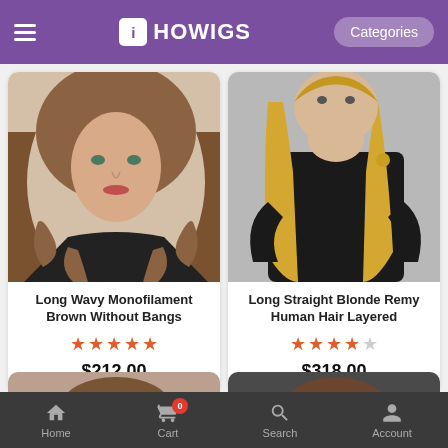iHOWIGS — Categories
[Figure (photo): Model wearing long wavy monofilament brown wig without bangs, dressed in black]
Long Wavy Monofilament Brown Without Bangs
★★★★★
$212.00
[Figure (photo): Model showing long straight blonde remy human hair layered wig, wearing black top]
Long Straight Blonde Remy Human Hair Layered
★★★★☆
$318.00
[Figure (photo): Partial view of model with dark hair wig, bottom card row]
[Figure (photo): Partial view of model with brunette bangs wig, bottom card row]
Home  Cart 0  Search  Account